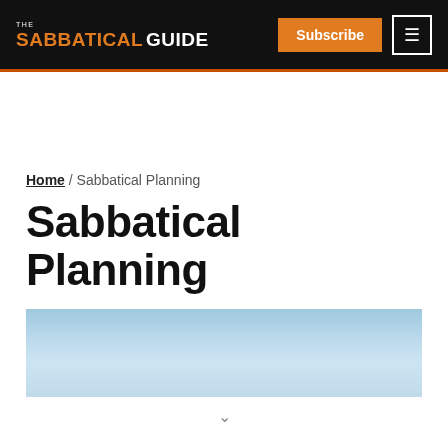THE SABBATICAL GUIDE | Subscribe | Navigation menu
Home / Sabbatical Planning
Sabbatical Planning
[Figure (photo): Sky photo with light blue gradient background, appears to be an open sky image used as a hero/banner for the Sabbatical Planning page]